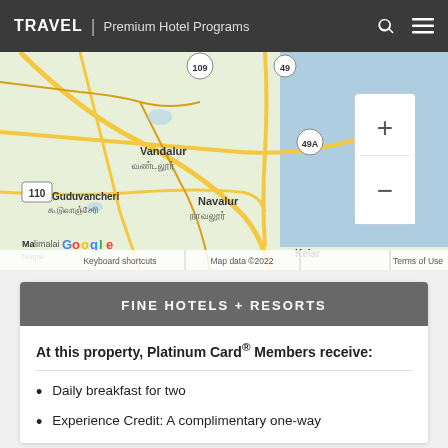TRAVEL | Premium Hotel Programs
[Figure (map): Google Maps screenshot showing area around Navalur, Vandalur, Guduvancheri in Tamil Nadu, India, with road routes, water body (Bay of Bengal) on the right, zoom controls (+/-), and attribution: Google, Keyboard shortcuts, Map data ©2022, Terms of Use]
FINE HOTELS + RESORTS
At this property, Platinum Card® Members receive:
Daily breakfast for two
Experience Credit: A complimentary one-way